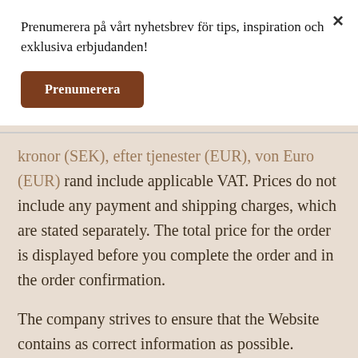Prenumerera på vårt nyhetsbrev för tips, inspiration och exklusiva erbjudanden!
Prenumerera
rand include applicable VAT. Prices do not include any payment and shipping charges, which are stated separately. The total price for the order is displayed before you complete the order and in the order confirmation.
The company strives to ensure that the Website contains as correct information as possible. However, we reserve the right for the Website to contain typographical errors and incorrect prices. We are not bound by prices that you realised or should have realised